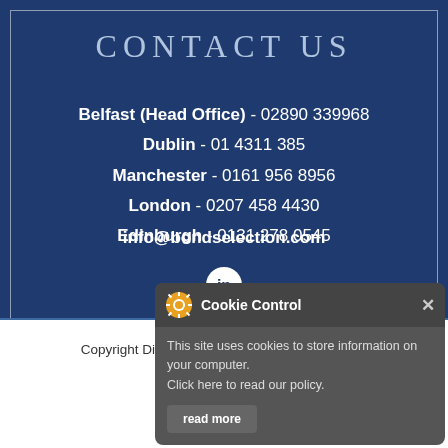CONTACT US
Belfast (Head Office) - 02890 339968
Dublin - 01 4311 385
Manchester - 0161 956 8956
London - 0207 458 4430
Edinburgh - 0131 278 0545
info@bondselection.com
[Figure (logo): LinkedIn circular logo/icon in white on dark blue background]
[Figure (screenshot): Cookie Control popup overlay with gear icon, title 'Cookie Control', close X button, text 'This site uses cookies to store information on your computer. Click here to read our policy.' and a 'read more' button]
Copyright   Disclaimer   Privacy and cookies policy